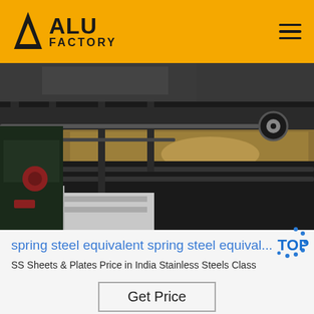ALU FACTORY
[Figure (photo): Industrial steel sheet processing machinery in a factory setting, showing metal rollers and large flat steel sheets on a production line]
spring steel equivalent spring steel equival...
SS Sheets & Plates Price in India Stainless Steels Class
Get Price